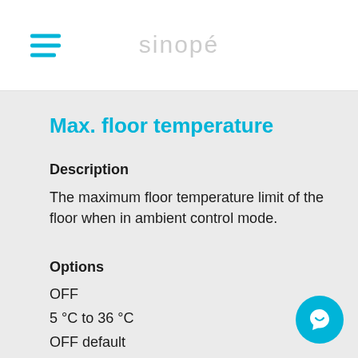sinopé
Max. floor temperature
Description
The maximum floor temperature limit of the floor when in ambient control mode.
Options
OFF
5 °C to 36 °C
OFF default